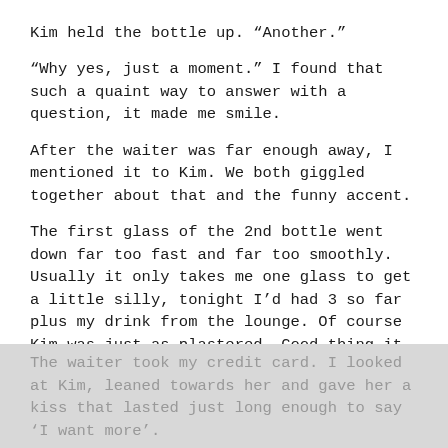Kim held the bottle up. “Another.”
“Why yes, just a moment.” I found that such a quaint way to answer with a question, it made me smile.
After the waiter was far enough away, I mentioned it to Kim. We both giggled together about that and the funny accent.
The first glass of the 2nd bottle went down far too fast and far too smoothly. Usually it only takes me one glass to get a little silly, tonight I’d had 3 so far plus my drink from the lounge. Of course Kim was just as plastered. Good thing it was just a mile down quiet streets to my place. Only one small step into it. I felt sure we could get her chair inside. What did I know? I just hoped.
The waiter took my credit card. I looked at Kim, leaned towards her and gave her a kiss that lasted just long enough to say ‘I want more’.